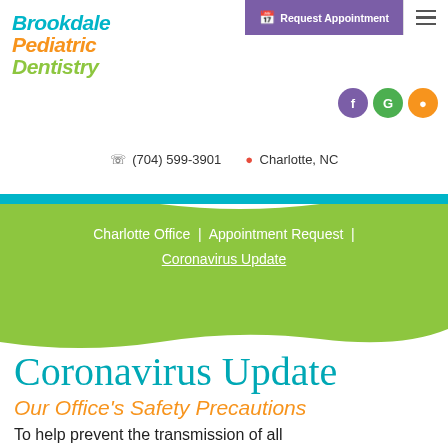[Figure (logo): Brookdale Pediatric Dentistry logo with colorful text]
[Figure (infographic): Purple Request Appointment button with calendar icon, and hamburger menu icon]
[Figure (infographic): Social media icons: Facebook (purple), Google (green), Instagram (orange)]
(704) 599-3901  Charlotte, NC
[Figure (infographic): Green wave navigation band]
Charlotte Office | Appointment Request | Coronavirus Update
Coronavirus Update
Our Office's Safety Precautions
To help prevent the transmission of all